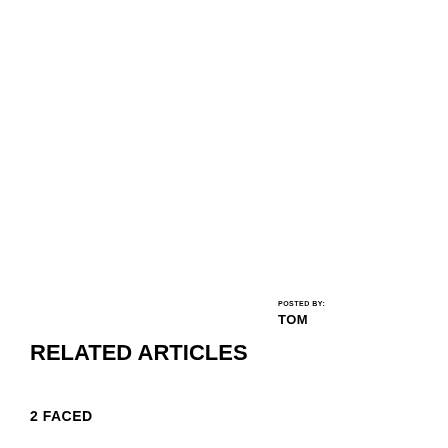POSTED BY:
TOM
RELATED ARTICLES
2 FACED